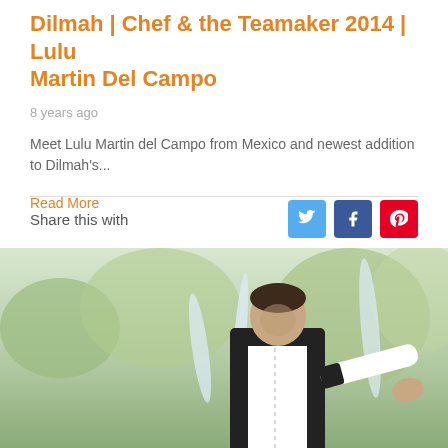Dilmah | Chef & the Teamaker 2014 | Lulu Martin Del Campo
8 years ago
Meet Lulu Martin del Campo from Mexico and newest addition to Dilmah's...
Read More
Share this with
[Figure (photo): A chef in white uniform with black trim, leaning forward with hand outstretched, photographed outdoors near fountains with blurred green foliage in background.]